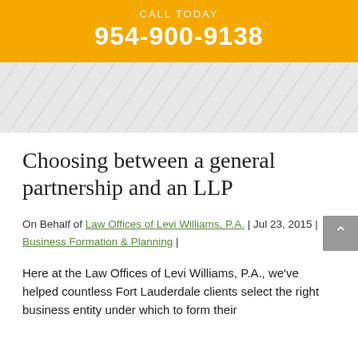CALL TODAY
954-900-9138
[Figure (other): Gray decorative banner with diagonal line pattern background]
Choosing between a general partnership and an LLP
On Behalf of Law Offices of Levi Williams, P.A. | Jul 23, 2015 | Business Formation & Planning |
Here at the Law Offices of Levi Williams, P.A., we've helped countless Fort Lauderdale clients select the right business entity under which to form their